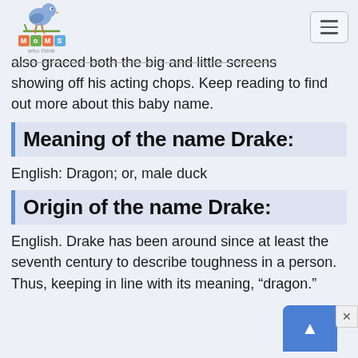MoMS who think — navigation header with logo and menu button
also graced both the big and little screens showing off his acting chops. Keep reading to find out more about this baby name.
Meaning of the name Drake:
English: Dragon; or, male duck
Origin of the name Drake:
English. Drake has been around since at least the seventh century to describe toughness in a person. Thus, keeping in line with its meaning, “dragon.”